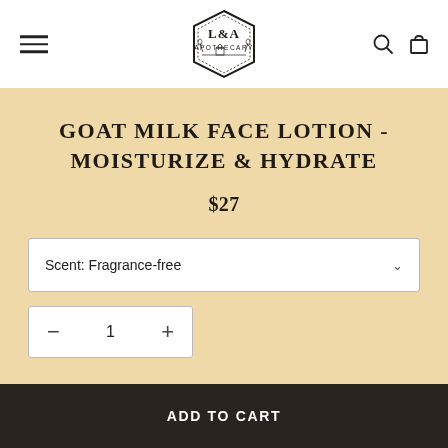[Figure (logo): L&A Apothecary logo in hexagon shape with farm scene and wheat branches]
GOAT MILK FACE LOTION - MOISTURIZE & HYDRATE
$27
Scent: Fragrance-free
QTY 1
ADD TO CART